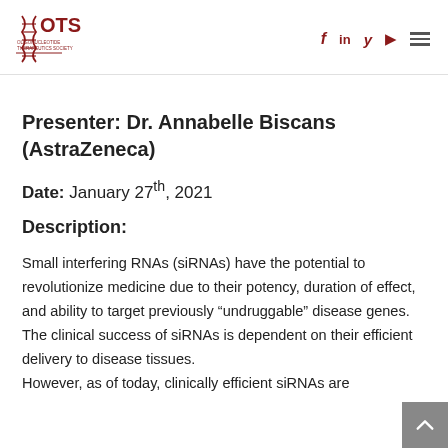[Figure (logo): OTS Oligonucleotide Therapeutics Society logo with DNA helix graphic]
Presenter: Dr. Annabelle Biscans (AstraZeneca)
Date: January 27th, 2021
Description:
Small interfering RNAs (siRNAs) have the potential to revolutionize medicine due to their potency, duration of effect, and ability to target previously “undruggable” disease genes. The clinical success of siRNAs is dependent on their efficient delivery to disease tissues. However, as of today, clinically efficient siRNAs are